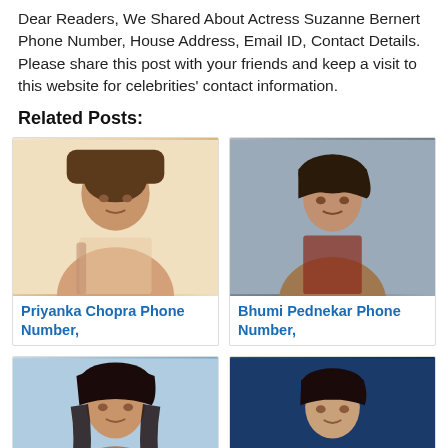Dear Readers, We Shared About Actress Suzanne Bernert Phone Number, House Address, Email ID, Contact Details. Please share this post with your friends and keep a visit to this website for celebrities' contact information.
Related Posts:
[Figure (photo): Photo of Priyanka Chopra]
Priyanka Chopra Phone Number,
[Figure (photo): Photo of Bhumi Pednekar]
Bhumi Pednekar Phone Number,
[Figure (photo): Photo of a female celebrity (Kiara Advani)]
[Figure (photo): Photo of a female celebrity (Kriti Sanon)]